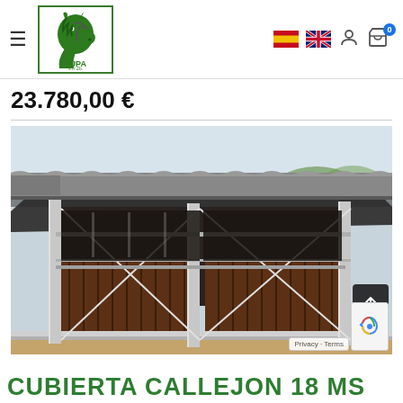LUPA equestrian shop navigation bar with hamburger menu, logo, Spanish flag, UK flag, user icon, cart icon with badge 0
23.780,00 €
[Figure (photo): Photograph of a covered horse walker / corridor structure with galvanized steel columns, wooden paneling (dark brown), diagonal cable cross-bracing, and a corrugated metal roof. Sandy floor visible at the bottom. Trees in background.]
CUBIERTA CALLEJON 18 MS